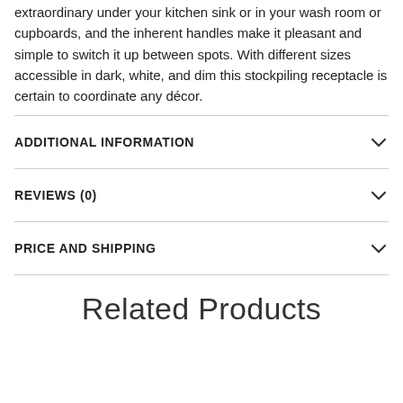extraordinary under your kitchen sink or in your wash room or cupboards, and the inherent handles make it pleasant and simple to switch it up between spots. With different sizes accessible in dark, white, and dim this stockpiling receptacle is certain to coordinate any décor.
ADDITIONAL INFORMATION
REVIEWS (0)
PRICE AND SHIPPING
Related Products